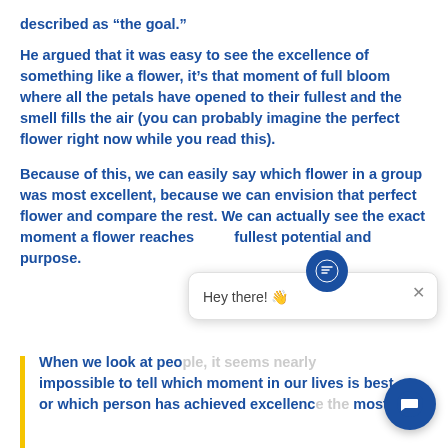described as “the goal.”
He argued that it was easy to see the excellence of something like a flower, it’s that moment of full bloom where all the petals have opened to their fullest and the smell fills the air (you can probably imagine the perfect flower right now while you read this).
Because of this, we can easily say which flower in a group was most excellent, because we can envision that perfect flower and compare the rest. We can actually see the exact moment a flower reaches its fullest potential and purpose.
When we look at people, it seems nearly impossible to tell which moment in our lives is best, or which person has achieved excellence most.